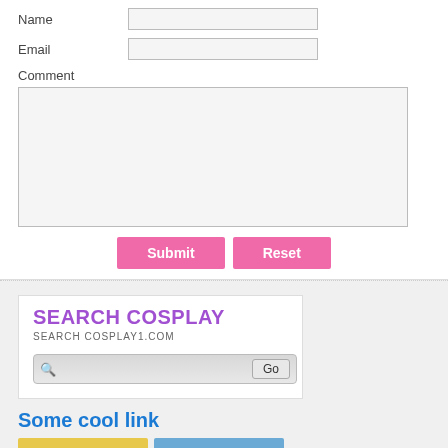Name
Email
Comment
Submit
Reset
SEARCH COSPLAY
SEARCH COSPLAY1.COM
Some cool link
[Figure (photo): Yellow-toned photo thumbnail]
[Figure (photo): Blue-toned photo thumbnail]